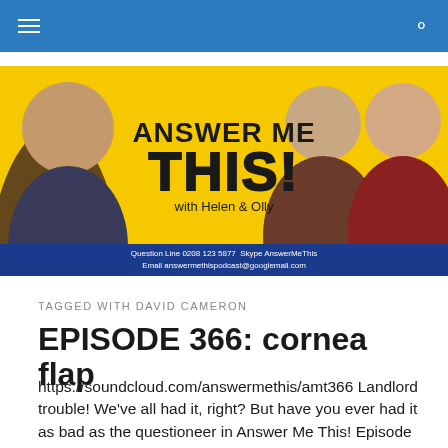Answer Me This! — navigation bar
[Figure (photo): Answer Me This! podcast banner with yellow background, three people (one bearded man on left, woman in center, smiling man on right), bold text 'ANSWER ME THIS!' and 'with Helen & Olly', blue bar at bottom with contact info: Question Line 0208 123 5877 Skype AnswerMeThis Email answermethispodcast@googlemail.com]
TAGGED WITH DAVID CAMERON
EPISODE 366: cornea flap
https://soundcloud.com/answermethis/amt366 Landlord trouble! We've all had it, right? But have you ever had it as bad as the questioneer in Answer Me This! Episode 366? We also chat about: hand models leg models also chat about something else The Bill